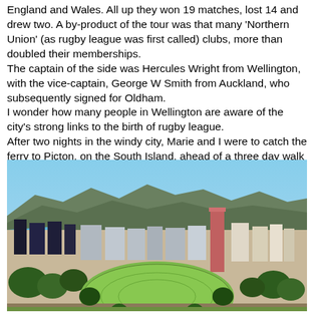England and Wales. All up they won 19 matches, lost 14 and drew two. A by-product of the tour was that many 'Northern Union' (as rugby league was first called) clubs, more than doubled their memberships.
The captain of the side was Hercules Wright from Wellington, with the vice-captain, George W Smith from Auckland, who subsequently signed for Oldham.
I wonder how many people in Wellington are aware of the city's strong links to the birth of rugby league.
After two nights in the windy city, Marie and I were to catch the ferry to Picton, on the South Island, ahead of a three day walk of the Marlborough Sounds. (More at later date).
[Figure (photo): Aerial/elevated view of Wellington city, New Zealand. Shows a cricket/sports oval in the foreground surrounded by trees, the city centre with buildings including a tall red/pink tower block, Wellington harbour/bay visible on the left, and green hills in the background under a blue sky.]